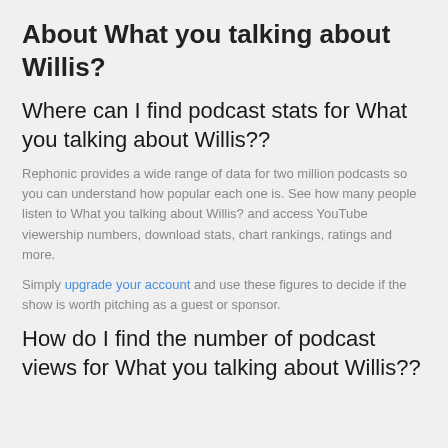About What you talking about Willis?
Where can I find podcast stats for What you talking about Willis??
Rephonic provides a wide range of data for two million podcasts so you can understand how popular each one is. See how many people listen to What you talking about Willis? and access YouTube viewership numbers, download stats, chart rankings, ratings and more.
Simply upgrade your account and use these figures to decide if the show is worth pitching as a guest or sponsor.
How do I find the number of podcast views for What you talking about Willis??